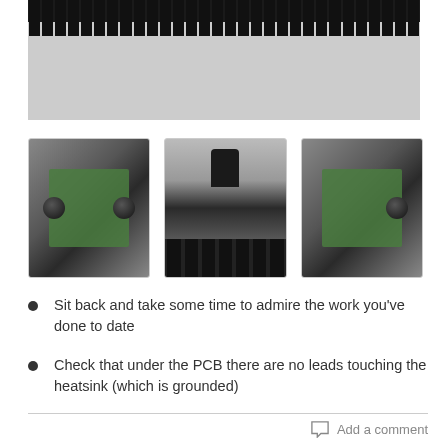[Figure (photo): Top photo of a black heatsink with cooling fins visible along the top edge, sitting on a light grey surface.]
[Figure (photo): Three thumbnail photos of an electronics assembly: left shows PCB with knob mounted on black heatsink from top; center shows a side/bottom view of the heatsink fins; right shows another angle of PCB with knob on black heatsink.]
Sit back and take some time to admire the work you've done to date
Check that under the PCB there are no leads touching the heatsink (which is grounded)
Add a comment